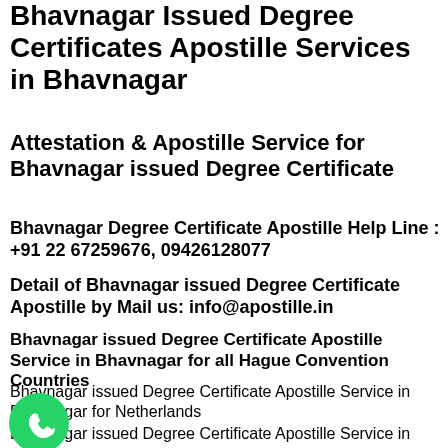Bhavnagar Issued Degree Certificates Apostille Services in Bhavnagar
Attestation & Apostille Service for Bhavnagar issued Degree Certificate
Bhavnagar Degree Certificate Apostille Help Line : +91 22 67259676, 09426128077
Detail of Bhavnagar issued Degree Certificate Apostille by Mail us: info@apostille.in
Bhavnagar issued Degree Certificate Apostille Service in Bhavnagar for all Hague Convention Countries
Bhavnagar issued Degree Certificate Apostille Service in Bhavnagar for Netherlands
Bhavnagar issued Degree Certificate Apostille Service in
[Figure (illustration): WhatsApp green phone icon]